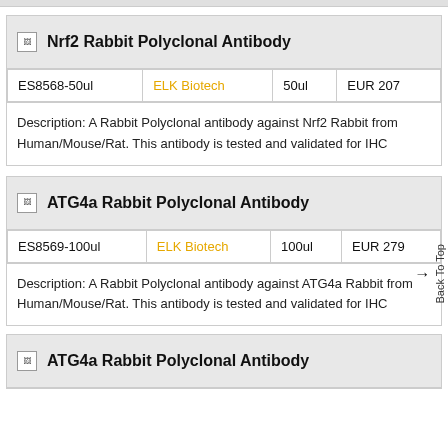Nrf2 Rabbit Polyclonal Antibody
| Catalog | Supplier | Volume | Price |
| --- | --- | --- | --- |
| ES8568-50ul | ELK Biotech | 50ul | EUR 207 |
Description: A Rabbit Polyclonal antibody against Nrf2 Rabbit from Human/Mouse/Rat. This antibody is tested and validated for IHC
ATG4a Rabbit Polyclonal Antibody
| Catalog | Supplier | Volume | Price |
| --- | --- | --- | --- |
| ES8569-100ul | ELK Biotech | 100ul | EUR 279 |
Description: A Rabbit Polyclonal antibody against ATG4a Rabbit from Human/Mouse/Rat. This antibody is tested and validated for IHC
ATG4a Rabbit Polyclonal Antibody